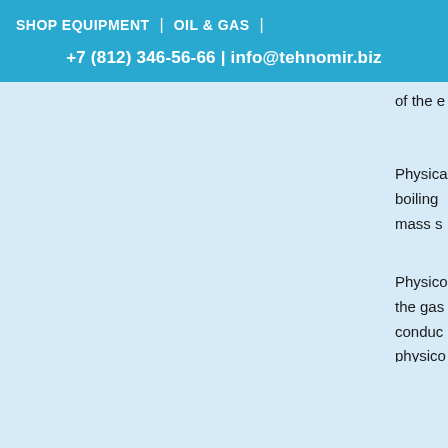SHOP EQUIPMENT | OIL & GAS |
+7 (812) 346-56-66 | info@tehnomir.biz
of the e
Physica boiling mass s
Physico the gas conduc physico physica
Gas ar